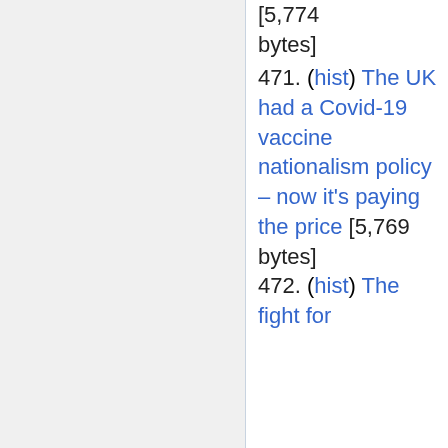[5,774 bytes]
471. (hist) The UK had a Covid-19 vaccine nationalism policy – now it's paying the price [5,769 bytes]
472. (hist) The fight for